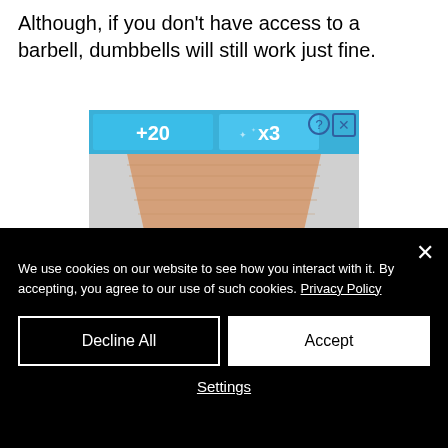Although, if you don't have access to a barbell, dumbbells will still work just fine.
[Figure (screenshot): A game screenshot showing a bowling lane or similar surface from a 3D perspective, with a blue banner at the top showing '+20' and 'x3' indicators, and a '?' and 'X' icon in the top right corner.]
We use cookies on our website to see how you interact with it. By accepting, you agree to our use of such cookies. Privacy Policy
Decline All
Accept
Settings